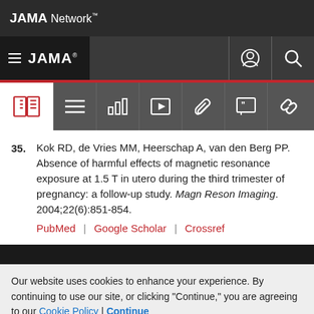JAMA Network
JAMA
35. Kok RD, de Vries MM, Heerschap A, van den Berg PP. Absence of harmful effects of magnetic resonance exposure at 1.5 T in utero during the third trimester of pregnancy: a follow-up study. Magn Reson Imaging. 2004;22(6):851-854. PubMed | Google Scholar | Crossref
Our website uses cookies to enhance your experience. By continuing to use our site, or clicking "Continue," you are agreeing to our Cookie Policy | Continue